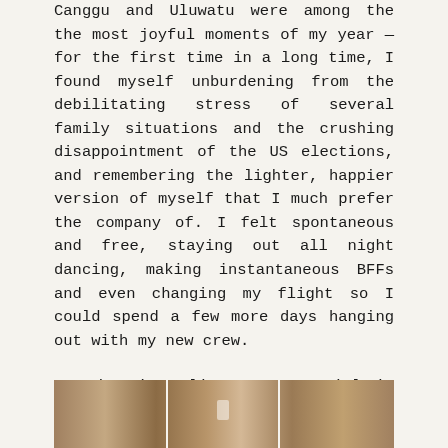Canggu and Uluwatu were among the the most joyful moments of my year — for the first time in a long time, I found myself unburdening from the debilitating stress of several family situations and the crushing disappointment of the US elections, and remembering the lighter, happier version of myself that I much prefer the company of. I felt spontaneous and free, staying out all night dancing, making instantaneous BFFs and even changing my flight so I could spend a few more days hanging out with my new crew.
My time in Bali was so special it kind of threw me for a loop, and left me strongly considering a change of scenery for a while...
[Figure (photo): Partial view of a wooden surface photo strip at the bottom of the page, appearing to show a table or wooden structure, cropped at the page edge.]